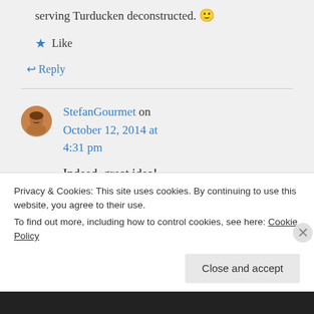serving Turducken deconstructed. 🙂
★ Like
↩ Reply
StefanGourmet on October 12, 2014 at 4:31 pm
Indeed, great idea!
How about chicken
Privacy & Cookies: This site uses cookies. By continuing to use this website, you agree to their use.
To find out more, including how to control cookies, see here: Cookie Policy
Close and accept